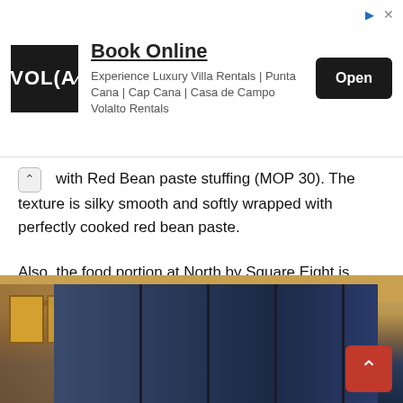[Figure (screenshot): Advertisement banner for Volalto Rentals. Shows a black logo with 'VOLA' text, heading 'Book Online', subtitle 'Experience Luxury Villa Rentals | Punta Cana | Cap Cana | Casa de Campo Volalto Rentals', and a black 'Open' button. Small triangular ad icon and X in top right.]
with Red Bean paste stuffing (MOP 30). The texture is silky smooth and softly wrapped with perfectly cooked red bean paste.
Also, the food portion at North by Square Eight is quite big so it is recommended to order a few and share. Other recommended food are Shaanxi Flat Noodles tossed with Garlic, Chili and Soy Sauce, Beijing styled chilled Marinated baby cabbage with sesame sauce and Pork meat & chives dumpling.
[Figure (photo): Interior photo of North by Square Eight restaurant showing modern architectural design with high ceiling, recessed lighting, floor-to-ceiling glass partitions with dark frames, blue accent walls, warm wood tones, and framed artwork on the left wall.]